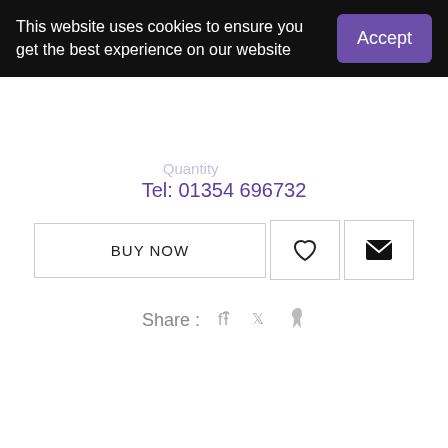This website uses cookies to ensure you get the best experience on our website
Accept
Tel: 01354 696732
BUY NOW
Share :
More Info
Testimonials